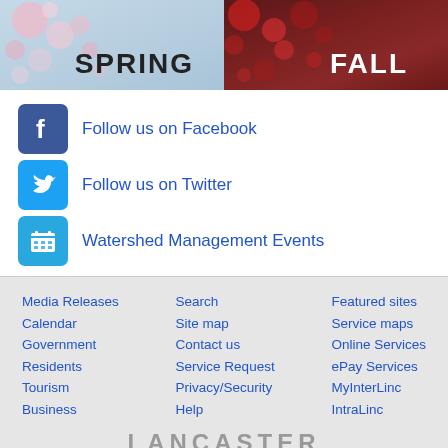[Figure (illustration): Two seasonal banner panels side by side: left panel showing 'SPRING' text over cherry blossom background, right panel showing 'FALL' text over red autumn foliage background]
Follow us on Facebook
Follow us on Twitter
Watershed Management Events
Media Releases
Calendar
Government
Residents
Tourism
Business
Search
Site map
Contact us
Service Request
Privacy/Security
Help
Featured sites
Service maps
Online Services
ePay Services
MyInterLinc
IntraLinc
[Figure (logo): Lancaster Nebraska County logo with large LANCASTER text, decorative lines, NEBRASKA subtext, and COUNTY text below]
lincoln.ne.gov | City of Lincoln, Nebraska, USA
[Figure (infographic): Row of four social media icons: RSS (orange), YouTube (orange), Facebook (blue), Twitter (cyan)]